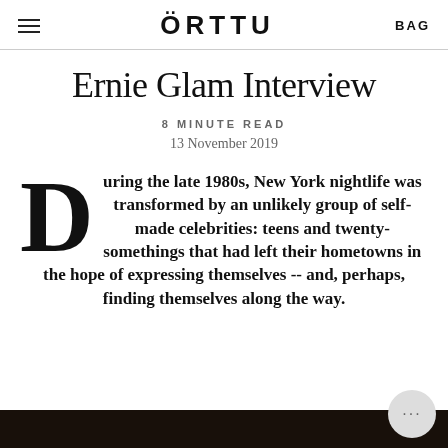ÖRTTU | BAG
Ernie Glam Interview
8 MINUTE READ
13 November 2019
During the late 1980s, New York nightlife was transformed by an unlikely group of self-made celebrities: teens and twenty-somethings that had left their hometowns in the hope of expressing themselves -- and, perhaps, finding themselves along the way.